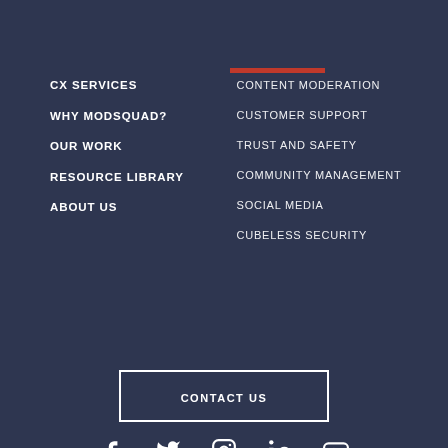CX SERVICES
WHY MODSQUAD?
OUR WORK
RESOURCE LIBRARY
ABOUT US
CONTENT MODERATION
CUSTOMER SUPPORT
TRUST AND SAFETY
COMMUNITY MANAGEMENT
SOCIAL MEDIA
CUBELESS SECURITY
CONTACT US
© 2022 MODSQUAD  PRIVACY & COOKIES